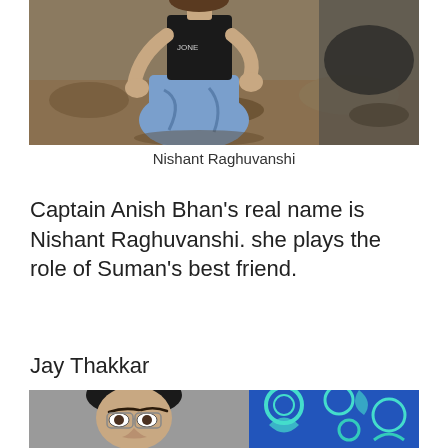[Figure (photo): Photo of Nishant Raghuvanshi sitting outdoors, wearing a black top and blue jeans, crouching on rocky ground]
Nishant Raghuvanshi
Captain Anish Bhan's real name is Nishant Raghuvanshi. she plays the role of Suman's best friend.
Jay Thakkar
[Figure (photo): Photo of Jay Thakkar, a young man with dark hair, shown from shoulders up, with a blue patterned fabric visible on the right side]